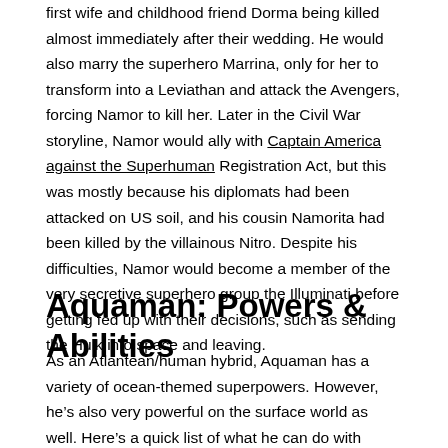first wife and childhood friend Dorma being killed almost immediately after their wedding. He would also marry the superhero Marrina, only for her to transform into a Leviathan and attack the Avengers, forcing Namor to kill her. Later in the Civil War storyline, Namor would ally with Captain America against the Superhuman Registration Act, but this was mostly because his diplomats had been attacked on US soil, and his cousin Namorita had been killed by the villainous Nitro. Despite his difficulties, Namor would become a member of the very secretive superhero group the Illuminati before getting fed up with their decisions, such as sending the Hulk into space and leaving.
Aquaman: Powers & Abilities
As an Atlantean/human hybrid, Aquaman has a variety of ocean-themed superpowers. However, he’s also very powerful on the surface world as well. Here’s a quick list of what he can do with notable differences from Namor bolded: